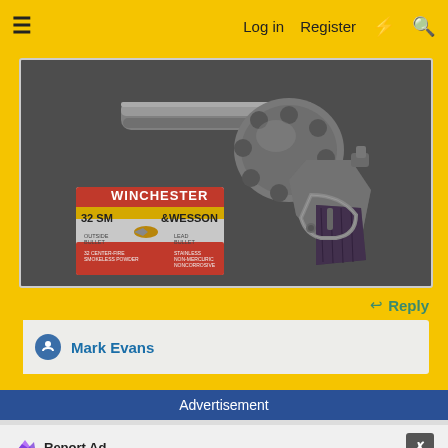≡   Log in   Register   ⚡   🔍
[Figure (photo): Photo of a vintage revolver handgun (Smith & Wesson style) with a box of Winchester 32 S&W ammunition on a dark surface]
↩ Reply
👍 Mark Evans
Advertisement
Report Ad  ✕
fravega .com  Frávega Como La Familia  ABRIR